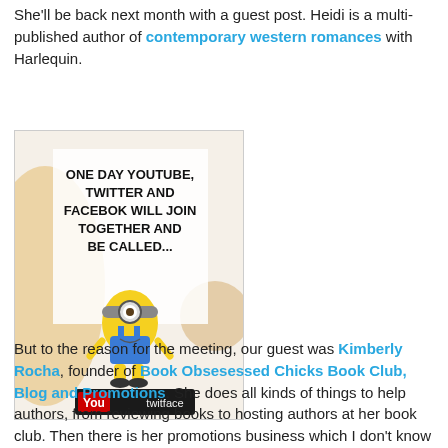She'll be back next month with a guest post. Heidi is a multi-published author of contemporary western romances with Harlequin.
[Figure (illustration): Humorous meme image with a Minion character. Text reads: 'ONE DAY YOUTUBE, TWITTER AND FACEBOK WILL JOIN TOGETHER AND BE CALLED...' with a logo at the bottom reading 'YouTwitFace']
But to the reason for the meeting, our guest was Kimberly Rocha, founder of Book Obsesessed Chicks Book Club, Blog and Promotions. She does all kinds of things to help authors, from reviewing books to hosting authors at her book club. Then there is her promotions business which I don't know much about. What Kim did, was give us lots of her opinions on what works for authors and what doesn't. A few tidbits. Facebook release parties are usually a waste of a writers' time. Better to spend time on an hour long Q and A with